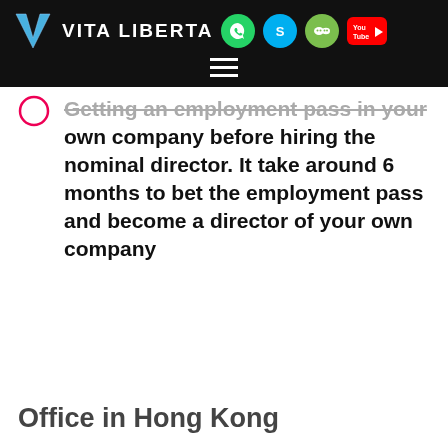VITA LIBERTA
Getting an employment pass in your own company before hiring the nominal director. It take around 6 months to bet the employment pass and become a director of your own company
Office in Hong Kong